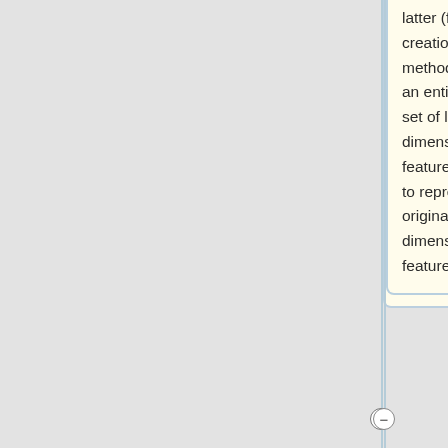latter (feature creation methods), create an entirely new set of lower-dimensional features, meant to represent the original (higher-dimensional) features.
One of the most powerful methods in machine learning is neural networks. In this paper, we will review the latest neural network-based cancer prediction